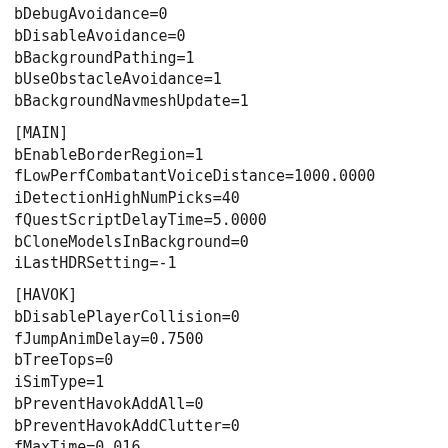bDebugAvoidance=0
bDisableAvoidance=0
bBackgroundPathing=1
bUseObstacleAvoidance=1
bBackgroundNavmeshUpdate=1
[MAIN]
bEnableBorderRegion=1
fLowPerfCombatantVoiceDistance=1000.0000
iDetectionHighNumPicks=40
fQuestScriptDelayTime=5.0000
bCloneModelsInBackground=0
iLastHDRSetting=-1
[HAVOK]
bDisablePlayerCollision=0
fJumpAnimDelay=0.7500
bTreeTops=0
iSimType=1
bPreventHavokAddAll=0
bPreventHavokAddClutter=0
fMaxTime=0.016
bHavokDebug=0
fRF=1000.0000
fOD=0.9000